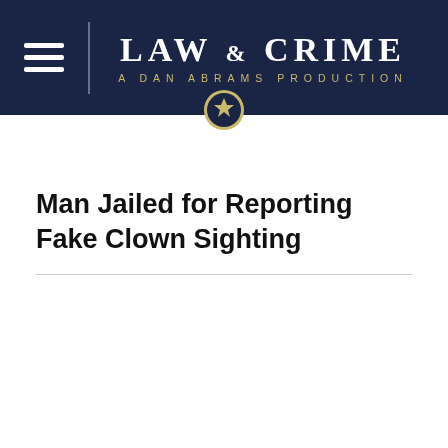LAW & CRIME — A DAN ABRAMS PRODUCTION
Man Jailed for Reporting Fake Clown Sighting